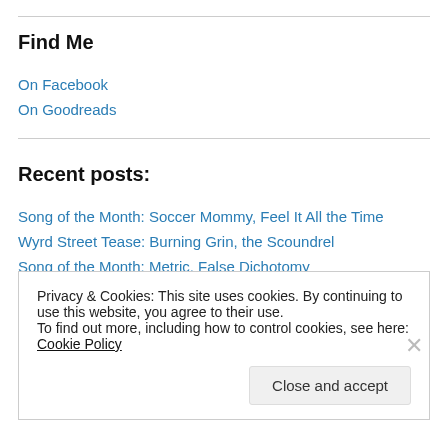Find Me
On Facebook
On Goodreads
Recent posts:
Song of the Month: Soccer Mommy, Feel It All the Time
Wyrd Street Tease: Burning Grin, the Scoundrel
Song of the Month: Metric, False Dichotomy
Privacy & Cookies: This site uses cookies. By continuing to use this website, you agree to their use. To find out more, including how to control cookies, see here: Cookie Policy